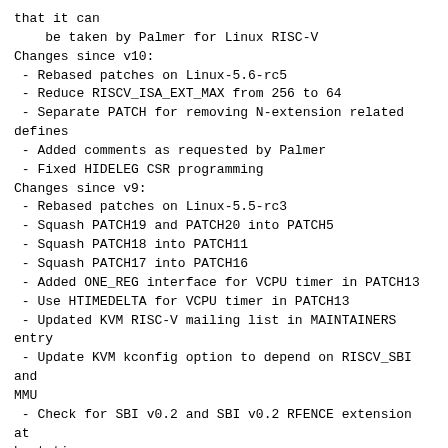that it can
    be taken by Palmer for Linux RISC-V
Changes since v10:
 - Rebased patches on Linux-5.6-rc5
 - Reduce RISCV_ISA_EXT_MAX from 256 to 64
 - Separate PATCH for removing N-extension related defines
 - Added comments as requested by Palmer
 - Fixed HIDELEG CSR programming
Changes since v9:
 - Rebased patches on Linux-5.5-rc3
 - Squash PATCH19 and PATCH20 into PATCH5
 - Squash PATCH18 into PATCH11
 - Squash PATCH17 into PATCH16
 - Added ONE_REG interface for VCPU timer in PATCH13
 - Use HTIMEDELTA for VCPU timer in PATCH13
 - Updated KVM RISC-V mailing list in MAINTAINERS entry
 - Update KVM kconfig option to depend on RISCV_SBI and MMU
 - Check for SBI v0.2 and SBI v0.2 RFENCE extension at boot-time
 - Use SBI v0.2 RFENCE extension in VMID implementation
 - Use SBI v0.2 RFENCE extension in Stage2 MMU implementation
 - Use SBI v0.2 RFENCE extension in SBI implementation
 - Moved to RISC-V Hypervisor v0.5 draft spec
 - Updated Documentation/virt/kvm/api.txt for timer ONE_REG interface